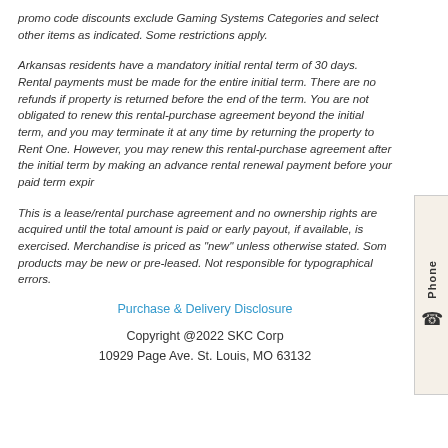promo code discounts exclude Gaming Systems Categories and select other items as indicated. Some restrictions apply.
Arkansas residents have a mandatory initial rental term of 30 days. Rental payments must be made for the entire initial term. There are no refunds if property is returned before the end of the term. You are not obligated to renew this rental-purchase agreement beyond the initial term, and you may terminate it at any time by returning the property to Rent One. However, you may renew this rental-purchase agreement after the initial term by making an advance rental renewal payment before your paid term expir
This is a lease/rental purchase agreement and no ownership rights are acquired until the total amount is paid or early payout, if available, is exercised. Merchandise is priced as "new" unless otherwise stated. Some products may be new or pre-leased. Not responsible for typographical errors.
Purchase & Delivery Disclosure
Copyright @2022 SKC Corp
10929 Page Ave. St. Louis, MO 63132